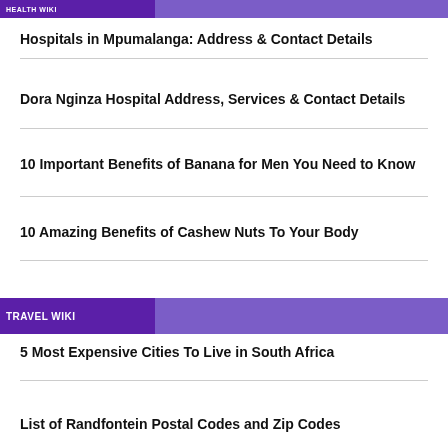HEALTH WIKI
Hospitals in Mpumalanga: Address & Contact Details
Dora Nginza Hospital Address, Services & Contact Details
10 Important Benefits of Banana for Men You Need to Know
10 Amazing Benefits of Cashew Nuts To Your Body
TRAVEL WIKI
5 Most Expensive Cities To Live in South Africa
List of Randfontein Postal Codes and Zip Codes